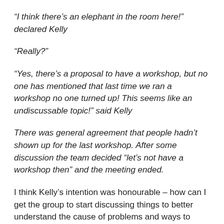“I think there’s an elephant in the room here!” declared Kelly
“Really?”
“Yes, there’s a proposal to have a workshop, but no one has mentioned that last time we ran a workshop no one turned up! This seems like an undiscussable topic!” said Kelly
There was general agreement that people hadn’t shown up for the last workshop. After some discussion the team decided “let’s not have a workshop then” and the meeting ended.
I think Kelly’s intention was honourable – how can I get the group to start discussing things to better understand the cause of problems and ways to avoid them in future.